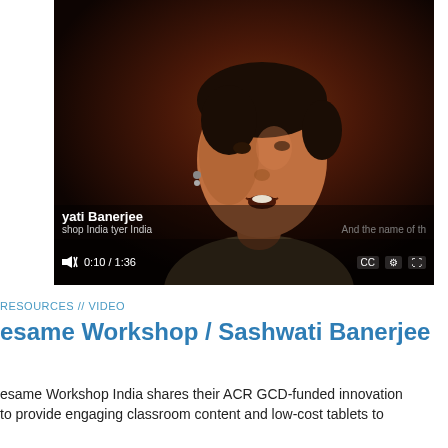[Figure (screenshot): Video player screenshot showing a woman (Sashwati Banerjee) speaking, with video controls showing 0:10 / 1:36, mute button, CC and settings icons. Name subtitle overlay reads 'yati Banerjee' and 'shop India tyer India'. Caption text on right reads 'And the name of th']
RESOURCES // VIDEO
esame Workshop / Sashwati Banerjee
esame Workshop India shares their ACR GCD-funded innovation to provide engaging classroom content and low-cost tablets to